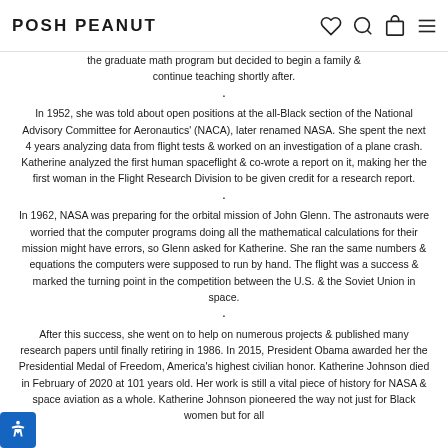POSH PEANUT
the graduate math program but decided to begin a family & continue teaching shortly after.
In 1952, she was told about open positions at the all-Black section of the National Advisory Committee for Aeronautics' (NACA), later renamed NASA. She spent the next 4 years analyzing data from flight tests & worked on an investigation of a plane crash. Katherine analyzed the first human spaceflight & co-wrote a report on it, making her the first woman in the Flight Research Division to be given credit for a research report.
In 1962, NASA was preparing for the orbital mission of John Glenn. The astronauts were worried that the computer programs doing all the mathematical calculations for their mission might have errors, so Glenn asked for Katherine. She ran the same numbers & equations the computers were supposed to run by hand. The flight was a success & marked the turning point in the competition between the U.S. & the Soviet Union in space.
After this success, she went on to help on numerous projects & published many research papers until finally retiring in 1986. In 2015, President Obama awarded her the Presidential Medal of Freedom, America's highest civilian honor. Katherine Johnson died in February of 2020 at 101 years old. Her work is still a vital piece of history for NASA & space aviation as a whole. Katherine Johnson pioneered the way not just for Black women but for all